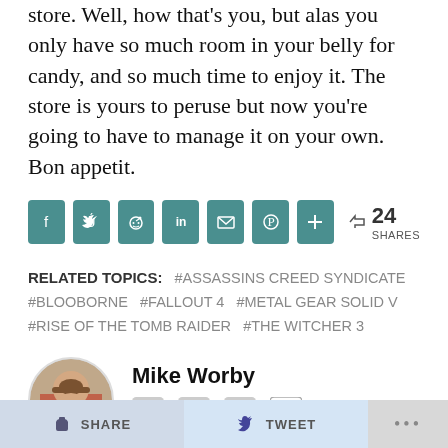store. Well, how that's you, but alas you only have so much room in your belly for candy, and so much time to enjoy it. The store is yours to peruse but now you're going to have to manage it on your own. Bon appetit.
24 SHARES — social share buttons (Facebook, Twitter, Reddit, LinkedIn, Email, Pinterest, More)
RELATED TOPICS: #ASSASSINS CREED SYNDICATE #BLOOBORNE #FALLOUT 4 #METAL GEAR SOLID V #RISE OF THE TOMB RAIDER #THE WITCHER 3
Mike Worby
Mike Worby is a human who spends way too much of his free time playing, writing and podcasting about pop culture. Through some miracle he's still able to function in society as if he were a regular person, and if there's hope for him, there's hope for everyone.
SHARE | TWEET | ...